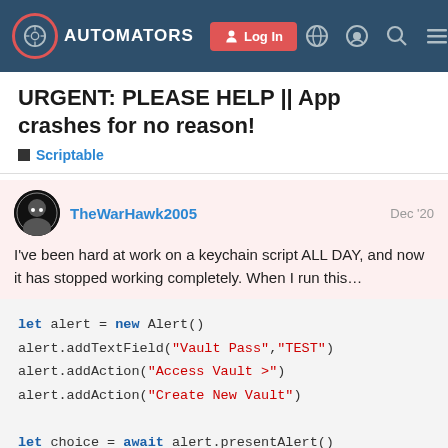AUTOMATORS | Log In navigation bar
URGENT: PLEASE HELP || App crashes for no reason!
Scriptable
TheWarHawk2005  Dec '20
I've been hard at work on a keychain script ALL DAY, and now it has stopped working completely. When I run this…